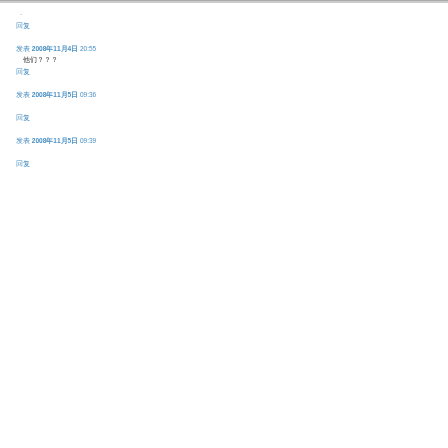（continuous text in Chinese characters — top entry body text）
回复
发表 2008年11月4日 20:55
他们???（Chinese characters）
回复
发表 2008年11月5日 09:36
（Chinese body text block）
回复
发表 2008年11月5日 09:39
（Chinese body text block）
回复